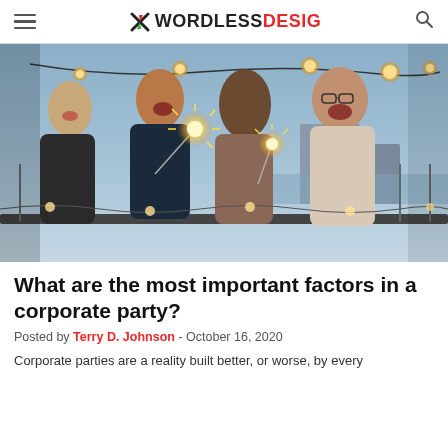WORDLESS DESIG
[Figure (photo): Four people at a corporate party on a rooftop, laughing and holding sparklers, with string lights in the background and a city skyline at dusk.]
What are the most important factors in a corporate party?
Posted by Terry D. Johnson - October 16, 2020
Corporate parties are a reality built better, or worse, by every